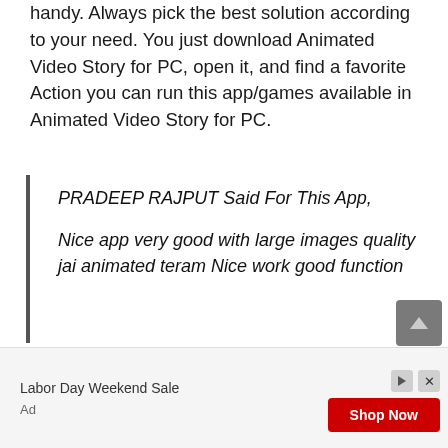handy. Always pick the best solution according to your need. You just download Animated Video Story for PC, open it, and find a favorite Action you can run this app/games available in Animated Video Story for PC.
PRADEEP RAJPUT Said For This App,

Nice app very good with large images quality jai animated teram Nice work good function
[Figure (other): Advertisement banner: Labor Day Weekend Sale with Shop Now button in red]